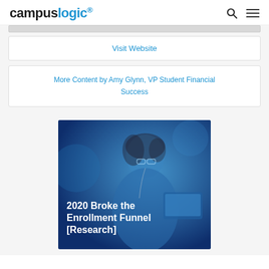campuslogic.
Visit Website
More Content by Amy Glynn, VP Student Financial Success
[Figure (photo): A young woman with glasses and earbuds against a blue-tinted background, with white bold text overlay reading '2020 Broke the Enrollment Funnel [Research]']